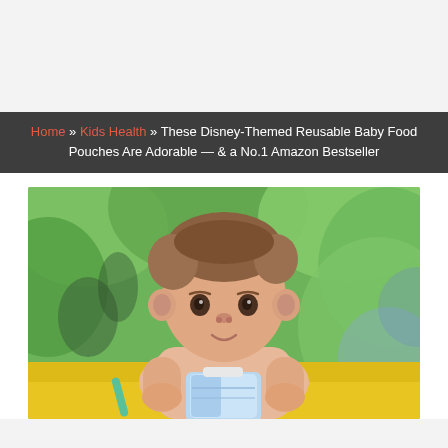Home » Kids Health » These Disney-Themed Reusable Baby Food Pouches Are Adorable — & a No.1 Amazon Bestseller
[Figure (photo): A baby/toddler outdoors holding a blue food pouch, leaning on a yellow surface, with green blurred background]